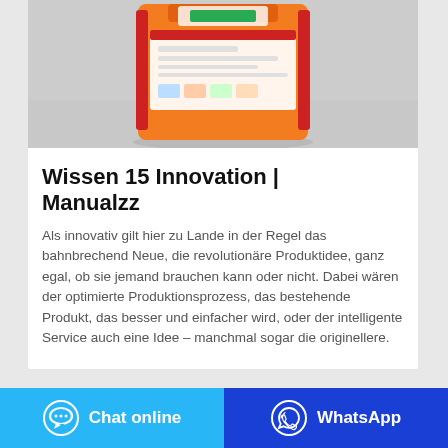[Figure (photo): Orange product bag/package, standing upright with labels visible, on a gray/white background]
Wissen 15 Innovation | Manualzz
Als innovativ gilt hier zu Lande in der Regel das bahnbrechend Neue, die revolutionäre Produktidee, ganz egal, ob sie jemand brauchen kann oder nicht. Dabei wären der optimierte Produktionsprozess, das bestehende Produkt, das besser und einfacher wird, oder der intelligente Service auch eine Idee – manchmal sogar die originellere.
Chat online | WhatsApp